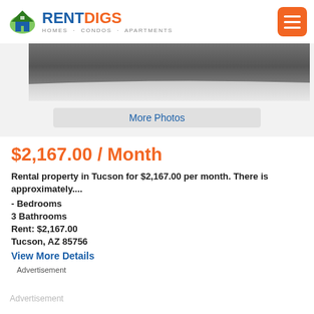RENTDIGS — HOMES · CONDOS · APARTMENTS
[Figure (photo): Partial photo of a road/driveway surface with curb, showing asphalt and concrete.]
More Photos
$2,167.00 / Month
Rental property in Tucson for $2,167.00 per month. There is approximately....
- Bedrooms
3 Bathrooms
Rent: $2,167.00
Tucson, AZ 85756
View More Details
Advertisement
Advertisement